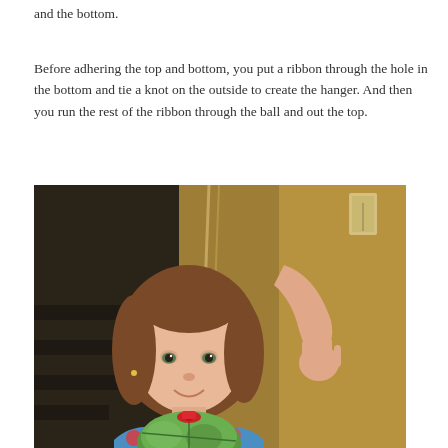and the bottom.
Before adhering the top and bottom, you put a ribbon through the hole in the bottom and tie a knot on the outside to create the hanger. And then you run the rest of the ribbon through the ball and out the top.
[Figure (photo): A young girl with a brown bob haircut smiling, holding a decorative fabric ball ornament with red and green patterned fabric and a red ribbon. She is indoors near a staircase, wearing a colorful floral top.]